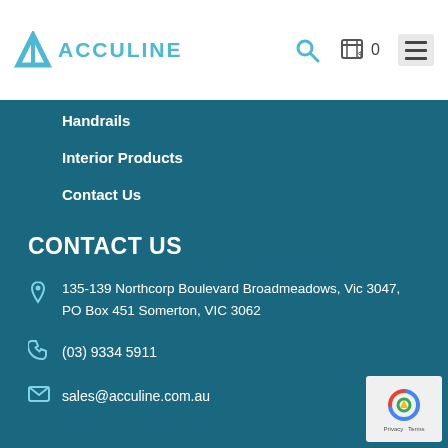ACCULINE — logo, search icon, cart (0), menu
Handrails
Interior Products
Contact Us
CONTACT US
135-139 Northcorp Boulevard Broadmeadows, Vic 3047, PO Box 451 Somerton, VIC 3062
(03) 9334 5911
sales@acculine.com.au